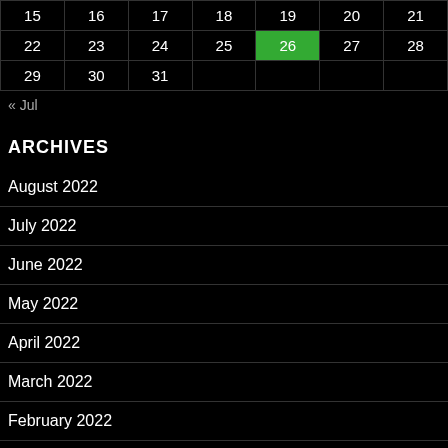| Sun | Mon | Tue | Wed | Thu | Fri | Sat |
| --- | --- | --- | --- | --- | --- | --- |
| 15 | 16 | 17 | 18 | 19 | 20 | 21 |
| 22 | 23 | 24 | 25 | 26 | 27 | 28 |
| 29 | 30 | 31 |  |  |  |  |
« Jul
ARCHIVES
August 2022
July 2022
June 2022
May 2022
April 2022
March 2022
February 2022